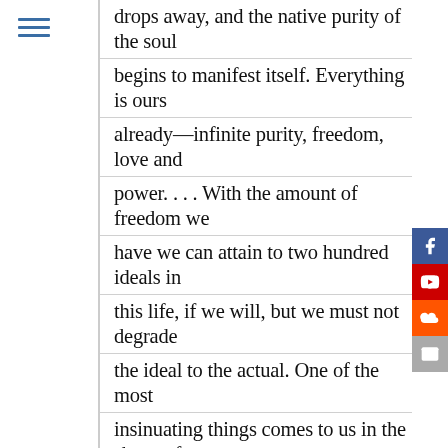drops away, and the native purity of the soul begins to manifest itself. Everything is ours already—infinite purity, freedom, love and power. . . . With the amount of freedom we have we can attain to two hundred ideals in this life, if we will, but we must not degrade the ideal to the actual. One of the most insinuating things comes to us in the shape of persons who apologize for our mistakes and teach us how to make special excuses for all our foolish wants and foolish desires; and we think that their ideal is the only ideal we need have. But it is not so. The Vedanta teaches no such thing. The actual should be reconciled to the ideal, the present life should be made to